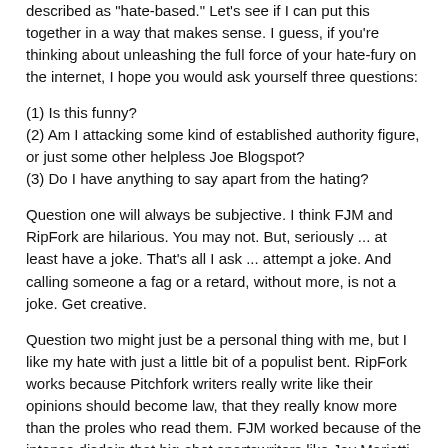described as "hate-based."  Let's see if I can put this together in a way that makes sense.  I guess, if you're thinking about unleashing the full force of your hate-fury on the internet, I hope you would ask yourself three questions:
(1)  Is this funny?
(2)  Am I attacking some kind of established authority figure, or just some other helpless Joe Blogspot?
(3)  Do I have anything to say apart from the hating?
Question one will always be subjective.  I think FJM and RipFork are hilarious.  You may not.  But, seriously ... at least have a joke.  That's all I ask ... attempt a joke.  And calling someone a fag or a retard, without more, is not a joke.  Get creative.
Question two might just be a personal thing with me, but I like my hate with just a little bit of a populist bent.  RipFork works because Pitchfork writers really write like their opinions should become law, that they really know more than the proles who read them.  FJM worked because of the intense disdain that big-shot sportswriters like Jay Mariotti